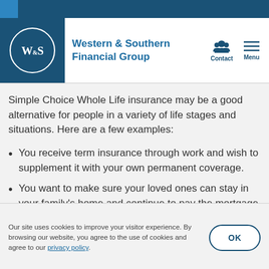Western & Southern Financial Group
Simple Choice Whole Life insurance may be a good alternative for people in a variety of life stages and situations. Here are a few examples:
You receive term insurance through work and wish to supplement it with your own permanent coverage.
You want to make sure your loved ones can stay in your family's home and continue to pay the mortgage should you pass away unexpectedly.
Our site uses cookies to improve your visitor experience. By browsing our website, you agree to the use of cookies and agree to our privacy policy.